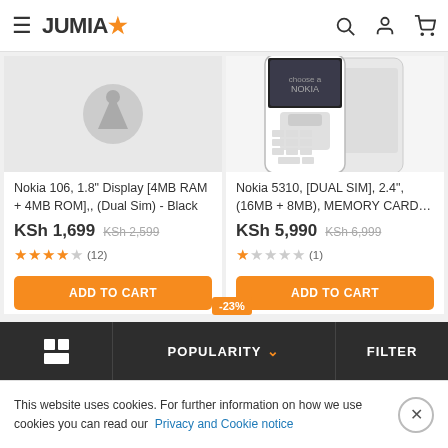JUMIA — navigation header with hamburger menu, search, account, and cart icons
[Figure (screenshot): Nokia 106 product image placeholder with grey background and a circular badge icon]
Nokia 106, 1.8" Display [4MB RAM + 4MB ROM],, (Dual Sim) - Black
KSh 1,699 KSh 2,599
★★★★☆ (12)
ADD TO CART
[Figure (photo): Nokia 5310 white phone product image showing front and back]
Nokia 5310, [DUAL SIM], 2.4", (16MB + 8MB), MEMORY CARD…
KSh 5,990 KSh 6,999
★☆☆☆☆ (1)
ADD TO CART
-23%
Grid | POPULARITY ∨ | FILTER
This website uses cookies. For further information on how we use cookies you can read our Privacy and Cookie notice